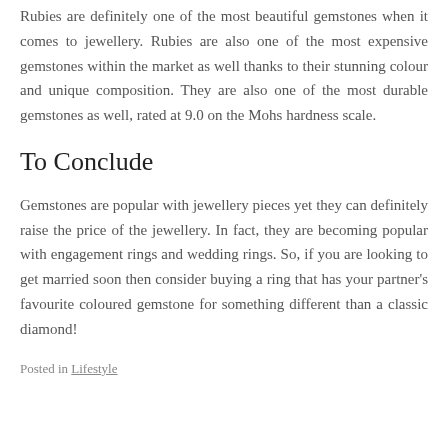Rubies are definitely one of the most beautiful gemstones when it comes to jewellery. Rubies are also one of the most expensive gemstones within the market as well thanks to their stunning colour and unique composition. They are also one of the most durable gemstones as well, rated at 9.0 on the Mohs hardness scale.
To Conclude
Gemstones are popular with jewellery pieces yet they can definitely raise the price of the jewellery. In fact, they are becoming popular with engagement rings and wedding rings. So, if you are looking to get married soon then consider buying a ring that has your partner's favourite coloured gemstone for something different than a classic diamond!
Posted in Lifestyle